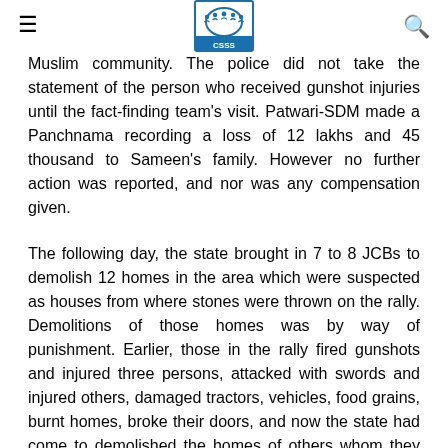CSSS logo with hamburger menu and search icon
Muslim community. The police did not take the statement of the person who received gunshot injuries until the fact-finding team's visit. Patwari-SDM made a Panchnama recording a loss of 12 lakhs and 45 thousand to Sameen's family. However no further action was reported, and nor was any compensation given.
The following day, the state brought in 7 to 8 JCBs to demolish 12 homes in the area which were suspected as houses from where stones were thrown on the rally. Demolitions of those homes was by way of punishment. Earlier, those in the rally fired gunshots and injured three persons, attacked with swords and injured others, damaged tractors, vehicles, food grains, burnt homes, broke their doors, and now the state had come to demolished the homes of others whom they suspected to be stone pelters, razing the structures with JCBs without